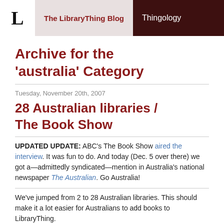L | The LibraryThing Blog | Thingology
Archive for the 'australia' Category
Tuesday, November 20th, 2007
28 Australian libraries / The Book Show
UPDATED UPDATE: ABC's The Book Show aired the interview. It was fun to do. And today (Dec. 5 over there) we got a—admittedly syndicated—mention in Australia's national newspaper The Australian. Go Australia!
We've jumped from 2 to 28 Australian libraries. This should make it a lot easier for Australians to add books to LibraryThing.